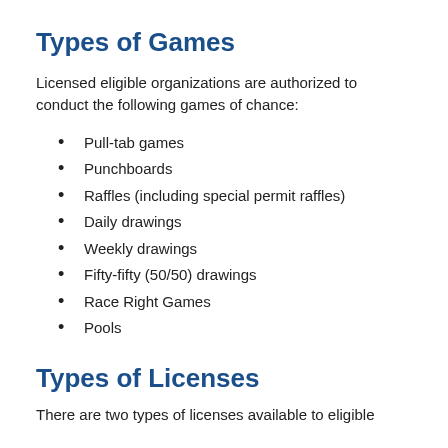Types of Games
Licensed eligible organizations are authorized to conduct the following games of chance:
Pull-tab games
Punchboards
Raffles (including special permit raffles)
Daily drawings
Weekly drawings
Fifty-fifty (50/50) drawings
Race Right Games
Pools
Types of Licenses
There are two types of licenses available to eligible